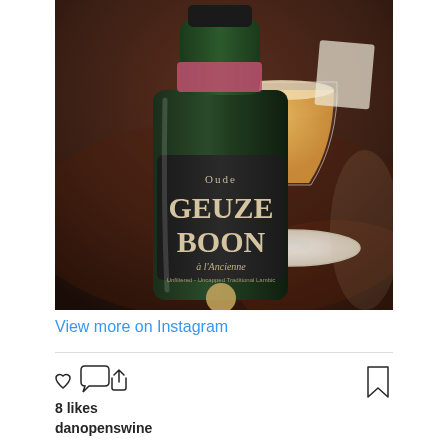[Figure (photo): Photo of a bottle of Oude Geuze Boon à l'Ancienne Belgian beer with a dark label, next to a stemmed glass filled with golden beer, on a dark bar table.]
View more on Instagram
8 likes
danopenswine